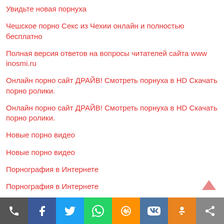Увидьте новая порнуха
Чешское порно Секс из Чехии онлайн и полностью бесплатно
Полная версия ответов на вопросы читателей сайта www inosmi.ru
Онлайн порно сайт ДРАЙВ! Смотреть порнуха в HD Скачать порно ролики.
Онлайн порно сайт ДРАЙВ! Смотреть порнуха в HD Скачать порно ролики.
Новые порно видео
Новые порно видео
Порнография в Интернете
Порнография в Интернете
Лучшие сайты секс знакомств 2022
Как добавить сайт в Google News
Social share bar: phone, facebook, twitter, whatsapp, mail, vk, odnoklassniki, share